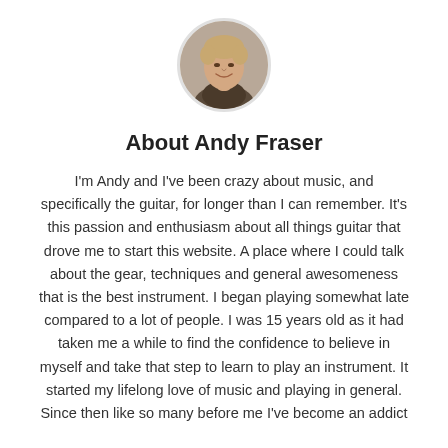[Figure (photo): Circular headshot photo of Andy Fraser, a young man smiling, with short hair, against a dark background]
About Andy Fraser
I'm Andy and I've been crazy about music, and specifically the guitar, for longer than I can remember. It's this passion and enthusiasm about all things guitar that drove me to start this website. A place where I could talk about the gear, techniques and general awesomeness that is the best instrument. I began playing somewhat late compared to a lot of people. I was 15 years old as it had taken me a while to find the confidence to believe in myself and take that step to learn to play an instrument. It started my lifelong love of music and playing in general. Since then like so many before me I've become an addict